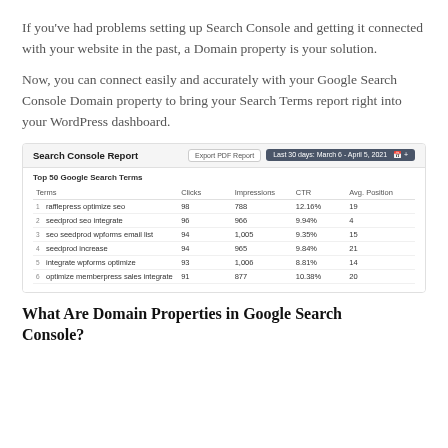If you've had problems setting up Search Console and getting it connected with your website in the past, a Domain property is your solution.
Now, you can connect easily and accurately with your Google Search Console Domain property to bring your Search Terms report right into your WordPress dashboard.
[Figure (screenshot): Search Console Report screenshot showing Top 50 Google Search Terms table with columns: Terms, Clicks, Impressions, CTR, Avg. Position. Rows include: 1. rafflepress optimize seo (98, 788, 12.16%, 19), 2. seedprod seo integrate (96, 966, 9.94%, 4), 3. seo seedprod wpforms email list (94, 1,005, 9.35%, 15), 4. seedprod increase (94, 965, 9.84%, 21), 5. integrate wpforms optimize (93, 1,006, 8.81%, 14), 6. optimize memberpress sales integrate (91, 877, 10.38%, 20). Header shows Export PDF Report button and Last 30 days: March 6 - April 5, 2021 date range.]
What Are Domain Properties in Google Search Console?